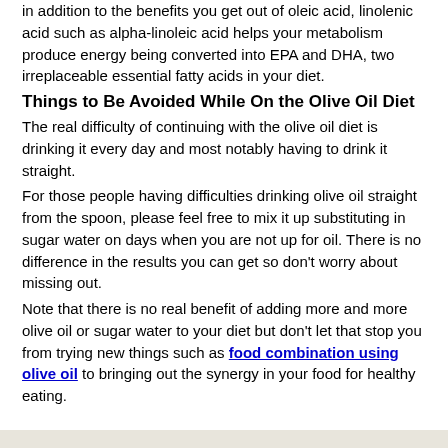in addition to the benefits you get out of oleic acid, linolenic acid such as alpha-linoleic acid helps your metabolism produce energy being converted into EPA and DHA, two irreplaceable essential fatty acids in your diet.
Things to Be Avoided While On the Olive Oil Diet
The real difficulty of continuing with the olive oil diet is drinking it every day and most notably having to drink it straight.
For those people having difficulties drinking olive oil straight from the spoon, please feel free to mix it up substituting in sugar water on days when you are not up for oil. There is no difference in the results you can get so don't worry about missing out.
Note that there is no real benefit of adding more and more olive oil or sugar water to your diet but don't let that stop you from trying new things such as food combination using olive oil to bringing out the synergy in your food for healthy eating.